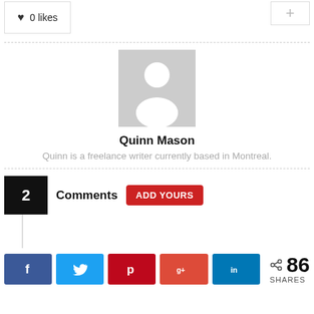0 likes
[Figure (illustration): Default user avatar placeholder — grey square with white silhouette of a person (head and shoulders)]
Quinn Mason
Quinn is a freelance writer currently based in Montreal.
2 Comments ADD YOURS
[Figure (infographic): Social share buttons: Facebook (f), Twitter (bird), Pinterest (P), Google+ (G+), LinkedIn (in), and share count of 86 SHARES]